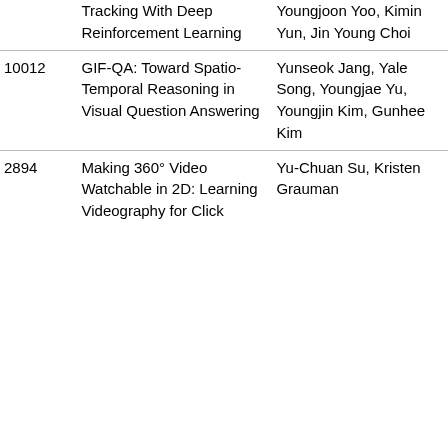| ID | Title | Authors |
| --- | --- | --- |
|  | Tracking With Deep Reinforcement Learning | Youngjoon Yoo, Kimin Yun, Jin Young Choi |
| 10012 | GIF-QA: Toward Spatio-Temporal Reasoning in Visual Question Answering | Yunseok Jang, Yale Song, Youngjae Yu, Youngjin Kim, Gunhee Kim |
| 2894 | Making 360° Video Watchable in 2D: Learning Videography for Click | Yu-Chuan Su, Kristen Grauman |